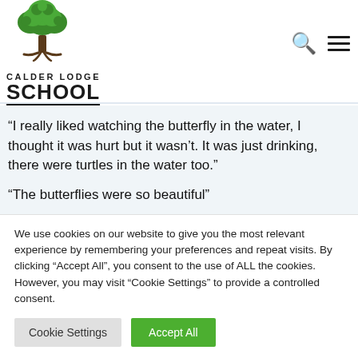[Figure (logo): Calder Lodge School logo with green tree illustration above text]
"I really liked watching the butterfly in the water, I thought it was hurt but it wasn't. It was just drinking, there were turtles in the water too."
"The butterflies were so beautiful"
We use cookies on our website to give you the most relevant experience by remembering your preferences and repeat visits. By clicking "Accept All", you consent to the use of ALL the cookies. However, you may visit "Cookie Settings" to provide a controlled consent.
Cookie Settings
Accept All